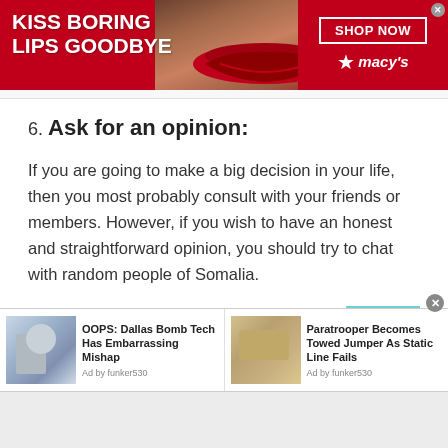[Figure (screenshot): Macy's advertisement banner: red background with woman's face showing red lips, text 'KISS BORING LIPS GOODBYE', 'SHOP NOW' button, and Macy's star logo]
6. Ask for an opinion:
If you are going to make a big decision in your life, then you most probably consult with your friends or members. However, if you wish to have an honest and straightforward opinion, you should try to chat with random people of Somalia.
Why do you need to tell a stranger about your life decisions? The reason is when you ask a stranger for
[Figure (screenshot): Bottom advertisement bar with two news items: 'OOPS: Dallas Bomb Tech Has Embarrassing Mishap' by funker530, and 'Paratrooper Becomes Towed Jumper As Static Line Fails' by funker530, each with thumbnail images]